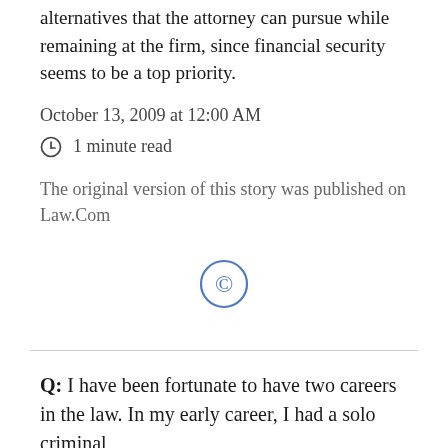alternatives that the attorney can pursue while remaining at the firm, since financial security seems to be a top priority.
October 13, 2009 at 12:00 AM
1 minute read
The original version of this story was published on Law.Com
[Figure (other): Copyright symbol (circle C)]
Q: I have been fortunate to have two careers in the law. In my early career, I had a solo criminal